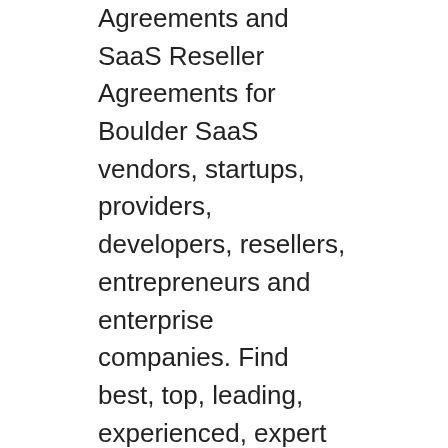Agreements and SaaS Reseller Agreements for Boulder SaaS vendors, startups, providers, developers, resellers, entrepreneurs and enterprise companies. Find best, top, leading, experienced, expert SaaS Agreements Lawyer Andrew S Bosin LLC specializing in helping, reviewing, drafting and negotiating SaaS Subscription Agreements, SaaS agreements, SaaS MSA agreements, SaaS EULA Agreements and SaaS Reseller Agreements for Dallas SaaS vendors, startups, providers, developers, resellers, entrepreneurs and enterprise companies. Find best, top, leading, experienced, expert SaaS Agreements Lawyer Andrew S Bosin LLC specializing in helping, reviewing, drafting and negotiating SaaS Subscription Agreements, SaaS agreements, SaaS MSA agreements, SaaS EULA Agreements and SaaS Reseller Agreements for Phoenix SaaS vendors, startups, providers, developers, resellers, entrepreneurs and enterprise companies. Find best, top, leading, experienced, expert SaaS Agreements Lawyer Andrew S Bosin LLC specializing in helping, reviewing, drafting and negotiating